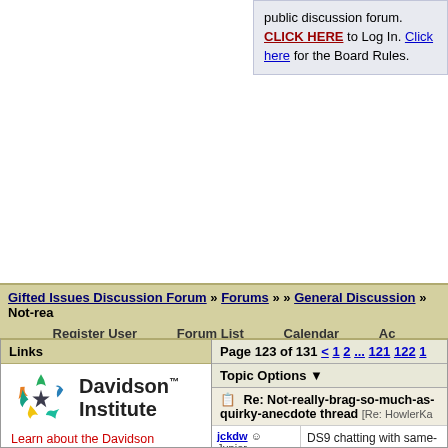public discussion forum. CLICK HERE to Log In. Click here for the Board Rules.
Gifted Issues Discussion Forum » Forums » » General Discussion » Not-rea...
Register User   Forum List   Calendar   Ac...
Links
[Figure (logo): Davidson Institute logo with colorful star/arrows graphic and Davidson Institute text]
Learn about the Davidson Academy's online campus for profoundly gifted students living anywhere in the U.S.
The Davidson Institute is a national nonprofit dedicated to supporting profoundly gifted students through the following
Page 123 of 131 < 1 2 ... 121 122 1...
Topic Options ▼
Re: Not-really-brag-so-much-as-quirky-anecdote thread [Re: HowlerKa...]
jckdw  Junior Member
Registered: 09/15/17
Posts: 29
Top
DS9 chatting with same-a... how you look at it, 1+1 is mathematical question or philosophical question."
Re: Not-really-brag-so-much-as-quirky-anecdote thread [Re: HowlerKa...]
Michaele... It's been forever since...